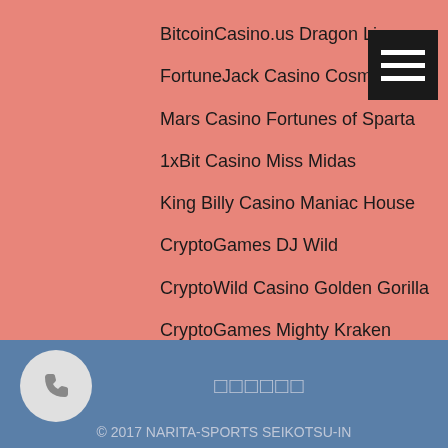BitcoinCasino.us Dragon Lines
FortuneJack Casino Cosmopolitan
Mars Casino Fortunes of Sparta
1xBit Casino Miss Midas
King Billy Casino Maniac House
CryptoGames DJ Wild
CryptoWild Casino Golden Gorilla
CryptoGames Mighty Kraken
Betchan Casino Illusions 2
https://www.harrisburgquakers.org/profile/leekalinoski9883004/profile
https://www.uniteddigitally.com/profile/giuseppegantvoort17915725/profile
https://www.gamazing.info/profile/sandievinton19524783/profile
https://www.roybelzerfitness.com/profile/tannerbleichner7219484/profile
© 2017 NARITA-SPORTS SEIKOTSU-IN